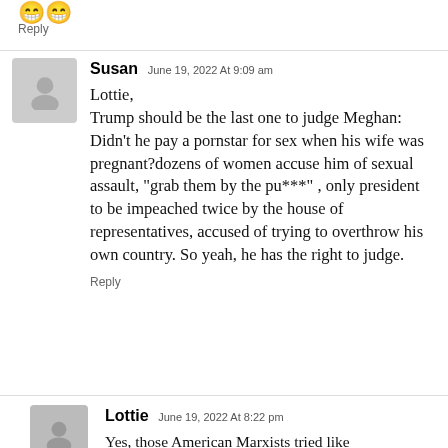[Figure (illustration): Two emoji icons (grinning face / smiley face)]
Reply
Susan  June 19, 2022 At 9:09 am
Lottie,
Trump should be the last one to judge Meghan: Didn’t he pay a pornstar for sex when his wife was pregnant?dozens of women accuse him of sexual assault, “grab them by the pu***” , only president to be impeached twice by the house of representatives, accused of trying to overthrow his own country. So yeah, he has the right to judge.
Reply
Lottie  June 19, 2022 At 8:22 pm
Yes, those American Marxists tried like...